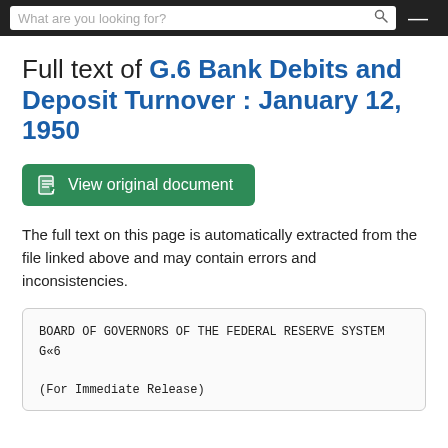What are you looking for?
Full text of G.6 Bank Debits and Deposit Turnover : January 12, 1950
View original document
The full text on this page is automatically extracted from the file linked above and may contain errors and inconsistencies.
BOARD OF GOVERNORS OF THE FEDERAL RESERVE SYSTEM
G«6

(For Immediate Release)